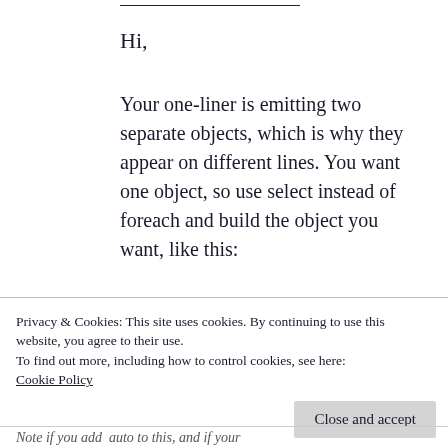Hi,
Your one-liner is emitting two separate objects, which is why they appear on different lines. You want one object, so use select instead of foreach and build the object you want, like this:
gci “C:\Program Files\” -recurse -force | ? {!$ .PSIsContainer -and $ .lastwritetime -
Privacy & Cookies: This site uses cookies. By continuing to use this website, you agree to their use.
To find out more, including how to control cookies, see here:
Cookie Policy
Close and accept
Note if you add auto to this, and if your